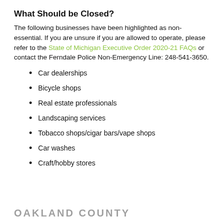What Should be Closed?
The following businesses have been highlighted as non-essential. If you are unsure if you are allowed to operate, please refer to the State of Michigan Executive Order 2020-21 FAQs or contact the Ferndale Police Non-Emergency Line: 248-541-3650.
Car dealerships
Bicycle shops
Real estate professionals
Landscaping services
Tobacco shops/cigar bars/vape shops
Car washes
Craft/hobby stores
OAKLAND COUNTY